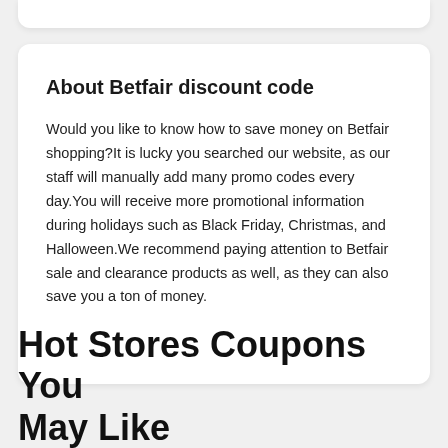About Betfair discount code
Would you like to know how to save money on Betfair shopping?It is lucky you searched our website, as our staff will manually add many promo codes every day.You will receive more promotional information during holidays such as Black Friday, Christmas, and Halloween.We recommend paying attention to Betfair sale and clearance products as well, as they can also save you a ton of money.
Hot Stores Coupons You May Like